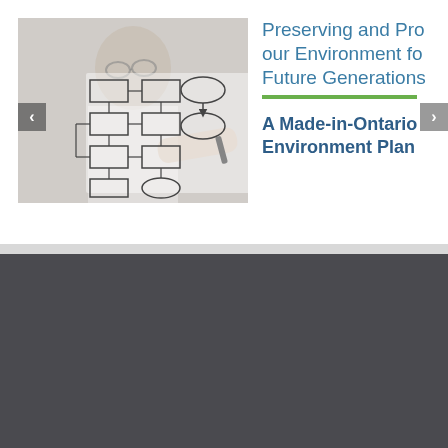[Figure (photo): Woman in white coat pointing at a hand-drawn flowchart diagram with boxes and ovals, photographed with shallow depth of field]
Preserving and Pro our Environment fo Future Generations
A Made-in-Ontario Environment Plan
[Figure (logo): INDECO logo in white on dark grey background — stylized text with globe icon replacing the O]
300 - 192 Spadina Avenue
Toronto, ON
Canada, M5T 2C2
"Is your organization ready to address the major changes that